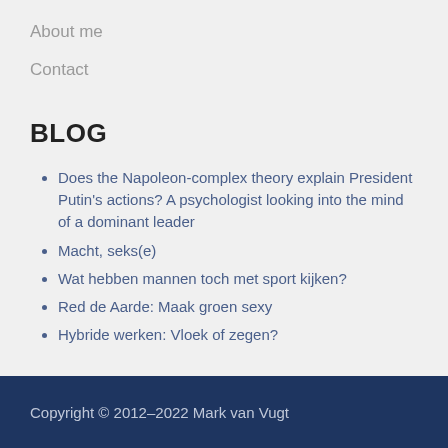About me
Contact
BLOG
Does the Napoleon-complex theory explain President Putin's actions? A psychologist looking into the mind of a dominant leader
Macht, seks(e)
Wat hebben mannen toch met sport kijken?
Red de Aarde: Maak groen sexy
Hybride werken: Vloek of zegen?
Copyright © 2012–2022 Mark van Vugt